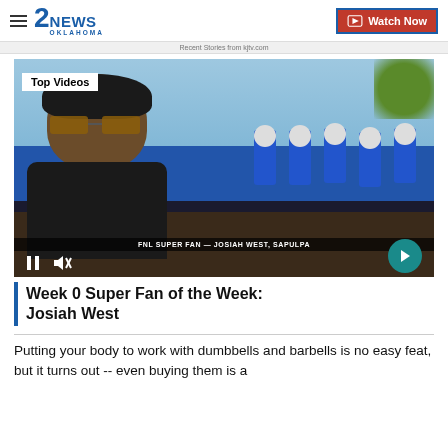2NEWS OKLAHOMA | Watch Now
Recent Stories from kjtv.com
[Figure (screenshot): Video player showing a young man with glasses at a football sideline. Top left badge reads 'Top Videos'. Lower bar reads 'FNL SUPER FAN — JOSIAH WEST, SAPULPA'. Video controls including pause and mute icons visible at bottom left, arrow navigation button at bottom right.]
Week 0 Super Fan of the Week: Josiah West
Putting your body to work with dumbbells and barbells is no easy feat, but it turns out -- even buying them is a